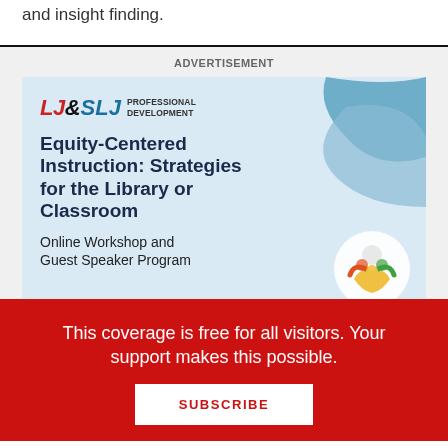and insight finding.
ADVERTISEMENT
[Figure (illustration): LJ&SLJ Professional Development advertisement banner for 'Equity-Centered Instruction: Strategies for the Library or Classroom' Online Workshop and Guest Speaker Program, with colorful logo and decorative wave background]
This coverage is free for all visitors. Your support makes this possible.
SUBSCRIBE